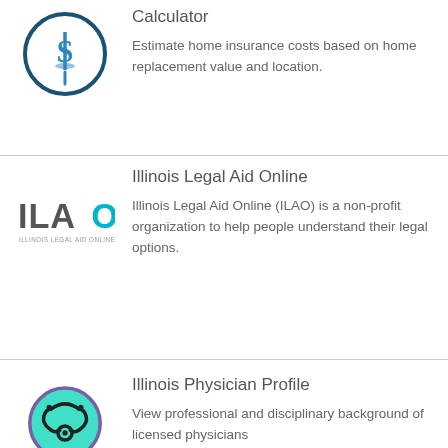[Figure (logo): Pharmacy/calculator icon: blue circle with Rx/dollar symbol on a stand]
Calculator
Estimate home insurance costs based on home replacement value and location.
[Figure (logo): ILAO logo: letters ILAO with cyan O, text Illinois Legal Aid Online below]
Illinois Legal Aid Online
Illinois Legal Aid Online (ILAO) is a non-profit organization to help people understand their legal options.
[Figure (logo): Illinois Physician Profile icon: teal circle with stethoscope]
Illinois Physician Profile
View professional and disciplinary background of licensed physicians